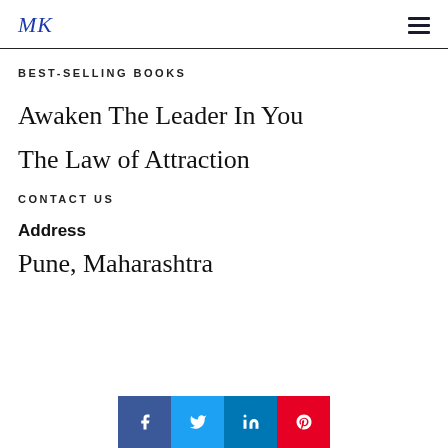MK
BEST-SELLING BOOKS
Awaken The Leader In You
The Law of Attraction
CONTACT US
Address
Pune, Mah...
[Figure (other): Social media sharing bar with Facebook, Twitter, LinkedIn, and Pinterest buttons]